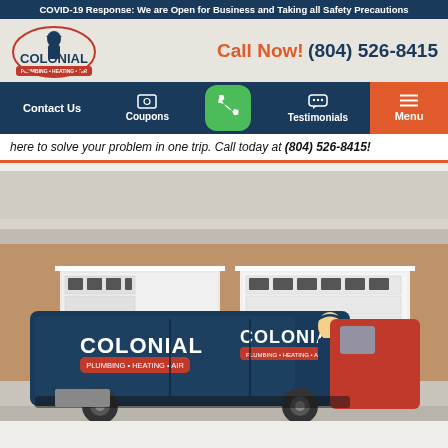COVID-19 Response: We are Open for Business and Taking all Safety Precautions
[Figure (logo): Colonial Plumbing Heating Air logo with colonial soldier figure]
Call Now! (804) 526-8415
Contact Us | Coupons | (phone icon) | Testimonials | Menu
here to solve your problem in one trip. Call today at (804) 526-8415!
[Figure (photo): Colonial Plumbing Heating Air branded van parked in front of a brick residential home with two garage doors]